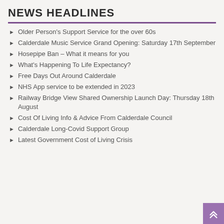NEWS HEADLINES
Older Person's Support Service for the over 60s
Calderdale Music Service Grand Opening: Saturday 17th September
Hosepipe Ban – What it means for you
What's Happening To Life Expectancy?
Free Days Out Around Calderdale
NHS App service to be extended in 2023
Railway Bridge View Shared Ownership Launch Day: Thursday 18th August
Cost Of Living Info & Advice From Calderdale Council
Calderdale Long-Covid Support Group
Latest Government Cost of Living Crisis